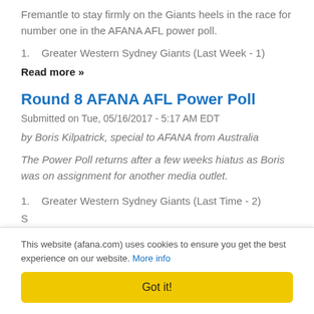Fremantle to stay firmly on the Giants heels in the race for number one in the AFANA AFL power poll.
1.    Greater Western Sydney Giants (Last Week - 1)
Read more »
Round 8 AFANA AFL Power Poll
Submitted on Tue, 05/16/2017 - 5:17 AM EDT
by Boris Kilpatrick, special to AFANA from Australia
The Power Poll returns after a few weeks hiatus as Boris was on assignment for another media outlet.
1.    Greater Western Sydney Giants (Last Time - 2)
Cookie banner: This website (afana.com) uses cookies to ensure you get the best experience on our website. More info | Got it!